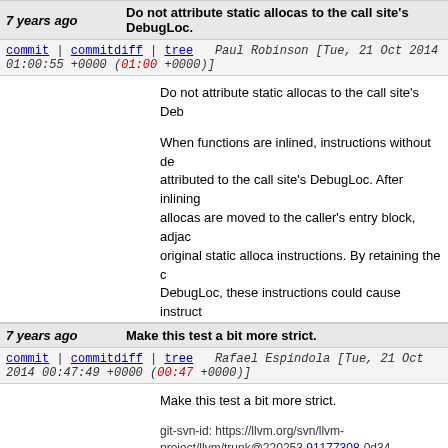7 years ago   Do not attribute static allocas to the call site's DebugLoc.
commit | commitdiff | tree   Paul Robinson [Tue, 21 Oct 2014 01:00:55 +0000 (01:00 +0000)]
Do not attribute static allocas to the call site's DebugLoc.

When functions are inlined, instructions without de... attributed to the call site's DebugLoc. After inlining, allocas are moved to the caller's entry block, adja... original static alloca instructions. By retaining the d... DebugLoc, these instructions could cause instruct... subsequently inserted at the entry block to pick up...

Patch by Wolfgang Pieb!

git-svn-id: https://llvm.org/svn/llvm-project/llvm/trunk@220255 91177308-0d34-0410-b5e6-96231b3b80d8
7 years ago   Make this test a bit more strict.
commit | commitdiff | tree   Rafael Espindola [Tue, 21 Oct 2014 00:47:49 +0000 (00:47 +0000)]
Make this test a bit more strict.

git-svn-id: https://llvm.org/svn/llvm-project/llvm/trunk@220253 91177308-0d34-